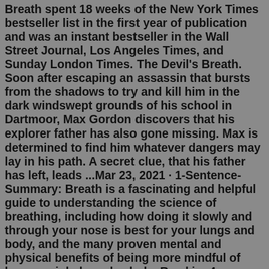Breath spent 18 weeks of the New York Times bestseller list in the first year of publication and was an instant bestseller in the Wall Street Journal, Los Angeles Times, and Sunday London Times. The Devil's Breath. Soon after escaping an assassin that bursts from the shadows to try and kill him in the dark windswept grounds of his school in Dartmoor, Max Gordon discovers that his explorer father has also gone missing. Max is determined to find him whatever dangers may lay in his path. A secret clue, that his father has left, leads ...Mar 23, 2021 · 1-Sentence-Summary: Breath is a fascinating and helpful guide to understanding the science of breathing, including how doing it slowly and through your nose is best for your lungs and body, and the many proven mental and physical benefits of being more mindful of how you inhale and exhale. Read in: 4 minutes. Every Breath. Inspiration for this book came from two very separate places. The first bit was from a familiar destination in my home state of North Carolina. There is a mailbox, well known to locals as